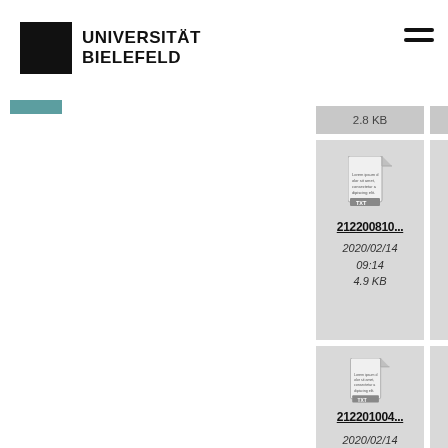UNIVERSITÄT BIELEFELD
[Figure (screenshot): File browser grid showing TXT files: 212200810..., 212200907..., 212200910...(partial), 212201004..., 212201010..., 212201110...(partial), each with date 2020/02/14 09:14 and file sizes]
2.8 KB   2 KB   5.2 K...
212200810...
2020/02/14 09:14
4.9 KB
212200907...
2020/02/14 09:14
5.5 KB
2020/0... 09:1... 5.3 K...
212201004...
2020/02/14
212201010...
2020/02/14
212201110...
2020/0...